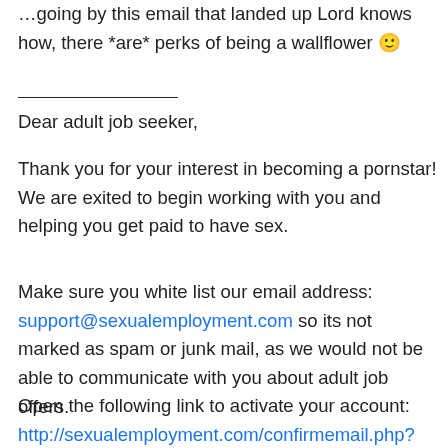…going by this email that landed up Lord knows how, there *are* perks of being a wallflower 🙂
Dear adult job seeker,
Thank you for your interest in becoming a pornstar! We are exited to begin working with you and helping you get paid to have sex.
Make sure you white list our email address: support@sexualemployment.com so its not marked as spam or junk mail, as we would not be able to communicate with you about adult job offers.
Open the following link to activate your account: http://sexualemployment.com/confirmemail.php?